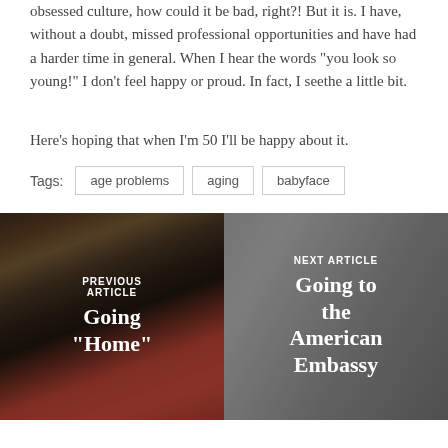obsessed culture, how could it be bad, right?! But it is. I have, without a doubt, missed professional opportunities and have had a harder time in general. When I hear the words “you look so young!” I don’t feel happy or proud. In fact, I seethe a little bit.
Here’s hoping that when I’m 50 I’ll be happy about it.
Tags: age problems  aging  babyface
[Figure (photo): Previous article navigation image showing two people eating at a restaurant with text overlay: PREVIOUS ARTICLE Going “Home”]
[Figure (photo): Next article navigation image showing a hand holding a phone, grey background with text overlay: NEXT ARTICLE Going to the American Embassy]